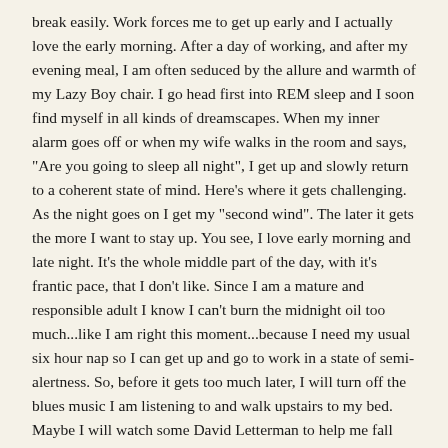break easily. Work forces me to get up early and I actually love the early morning. After a day of working, and after my evening meal, I am often seduced by the allure and warmth of my Lazy Boy chair. I go head first into REM sleep and I soon find myself in all kinds of dreamscapes. When my inner alarm goes off or when my wife walks in the room and says, "Are you going to sleep all night", I get up and slowly return to a coherent state of mind. Here's where it gets challenging. As the night goes on I get my "second wind". The later it gets the more I want to stay up. You see, I love early morning and late night. It's the whole middle part of the day, with it's frantic pace, that I don't like. Since I am a mature and responsible adult I know I can't burn the midnight oil too much...like I am right this moment...because I need my usual six hour nap so I can get up and go to work in a state of semi-alertness. So, before it gets too much later, I will turn off the blues music I am listening to and walk upstairs to my bed. Maybe I will watch some David Letterman to help me fall asleep. Maybe he will do the "Top Ten Reasons Mikey Should Go To Bed".
In the major religions there are contemplative traditions but I also think you can be a contemplative person without necessarily being a religious person. In my mind a contemplative person is one who